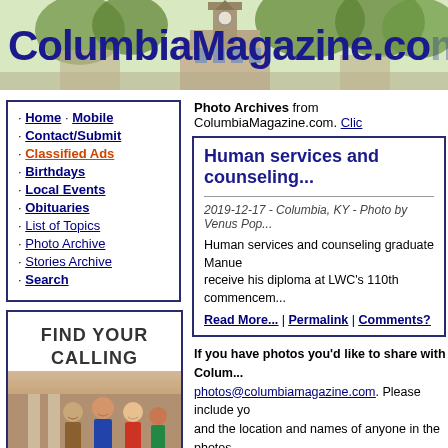[Figure (photo): ColumbiaMagazine.com website header banner showing a town scene with clock tower and trees]
ColumbiaMagazine.com
· Home · Mobile
· Contact/Submit
· Classified Ads
· Birthdays
· Local Events
· Obituaries
· List of Topics
· Photo Archive
· Stories Archive
· Search
[Figure (photo): Advertisement: FIND YOUR CALLING with photo of smiling students]
Photo Archives from ColumbiaMagazine.com. Clic...
Human services and counseling graduate Manue...
2019-12-17 - Columbia, KY - Photo by Venus Po...
Human services and counseling graduate Manuel... receive his diploma at LWC's 110th commencem...
Read More... | Permalink | Comments?
If you have photos you'd like to share with Colum... photos@columbiamagazine.com. Please include yo... and the location and names of anyone in the photos...